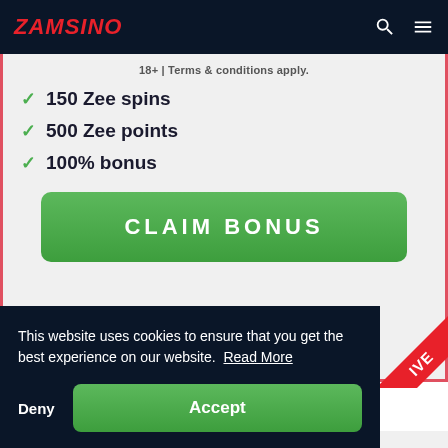ZAMSINO
18+ | Terms & conditions apply.
150 Zee spins
500 Zee points
100% bonus
CLAIM BONUS
This website uses cookies to ensure that you get the best experience on our website. Read More
Deny
Accept
18+ | Terms & conditions apply.